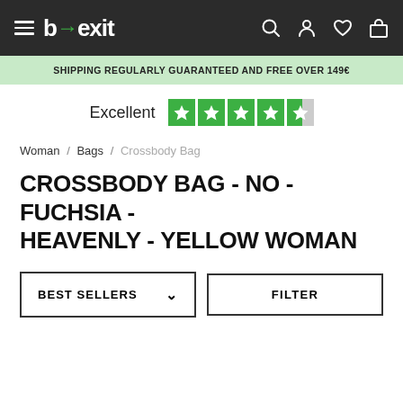b→exit
SHIPPING REGULARLY GUARANTEED AND FREE OVER 149€
Excellent ★★★★½
Woman / Bags / Crossbody Bag
CROSSBODY BAG - NO - FUCHSIA - HEAVENLY - YELLOW WOMAN
BEST SELLERS
FILTER